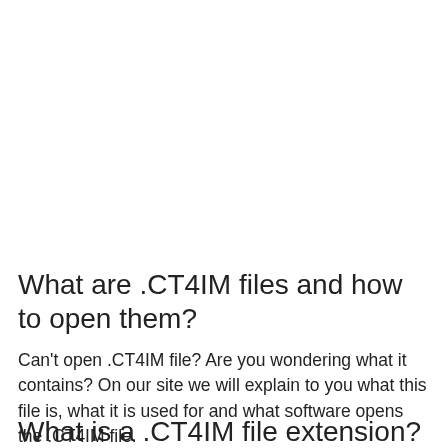What are .CT4IM files and how to open them?
Can't open .CT4IM file? Are you wondering what it contains? On our site we will explain to you what this file is, what it is used for and what software opens the .CT4IM file.
What is a .CT4IM file extension?